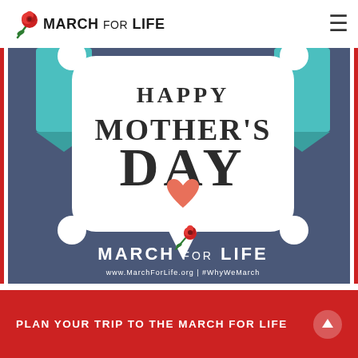[Figure (logo): March for Life logo with rose icon and bold text MARCH FOR LIFE]
[Figure (illustration): Happy Mother's Day promotional image with blue background, speech bubble design containing MOTHER'S DAY text and heart, March for Life logo, www.MarchForLife.org | #WhyWeMarch]
PLAN YOUR TRIP TO THE MARCH FOR LIFE